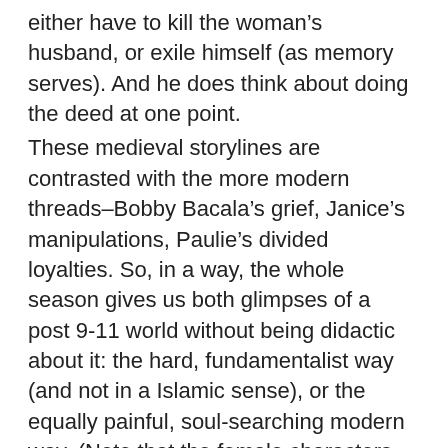either have to kill the woman's husband, or exile himself (as memory serves). And he does think about doing the deed at one point.
These medieval storylines are contrasted with the more modern threads–Bobby Bacala's grief, Janice's manipulations, Paulie's divided loyalties. So, in a way, the whole season gives us both glimpses of a post 9-11 world without being didactic about it: the hard, fundamentalist way (and not in a Islamic sense), or the equally painful, soul-searching modern way. (Note that the female characters have to ask this a lot: Carmela choosing self-respect over marriage, Adrianna choosing a law-abiding future over the crime family).
Favorite episodes: “Christopher” (for the final scene in the car), “Whoever Did This” (so many great images: the wounded child, the bloody dispatch of Ralphie, Tony’s solitary walk through the Bada Bing, empty and hollow inside and out), and “Whitecaps” (nothing